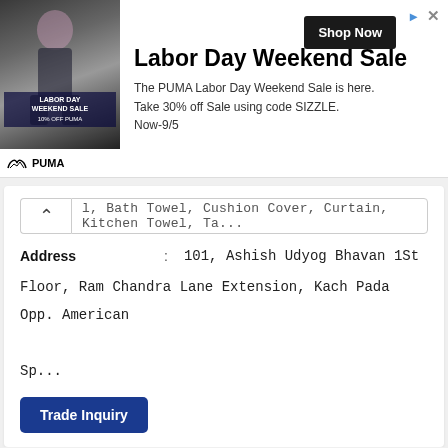[Figure (photo): PUMA Labor Day Weekend Sale advertisement banner with a photo of an athlete, PUMA branding, and a Shop Now button]
l, Bath Towel, Cushion Cover, Curtain, Kitchen Towel, Ta...
Address : 101, Ashish Udyog Bhavan 1St
Floor, Ram Chandra Lane Extension, Kach Pada Opp. American

Sp...
Trade Inquiry
Supplier Name : Sree Visalatchi Export Private Limited
Product Category : Bathroom Rugs Or Mats,
Bedspreads & Coverlets, Carpets And Rugs, Cushions & Bed

Covers, Dh...